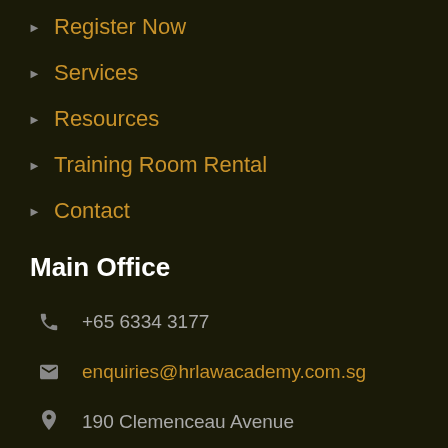Register Now
Services
Resources
Training Room Rental
Contact
Main Office
+65 6334 3177
enquiries@hrlawacademy.com.sg
190 Clemenceau Avenue